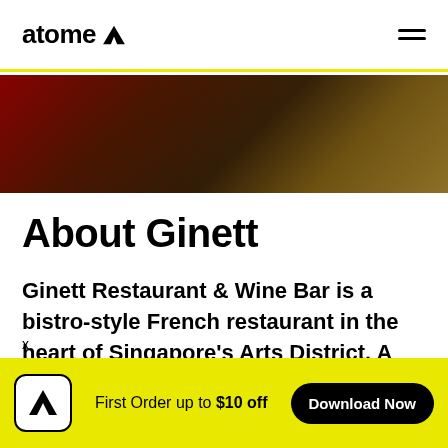atome — navigation header with logo and hamburger menu
[Figure (photo): Dark reddish-brown blurred hero image of a restaurant interior, showing warm ambient lighting with deep red and brown tones]
About Ginett
Ginett Restaurant & Wine Bar is a bistro-style French restaurant in the heart of Singapore's Arts District. A go-to destination for any French food lover...
First Order up to $10 off — Download Now (Atome app banner)